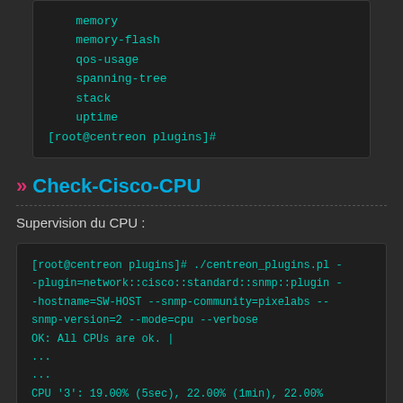memory
memory-flash
qos-usage
spanning-tree
stack
uptime
[root@centreon plugins]#
>> Check-Cisco-CPU
Supervision du CPU :
[root@centreon plugins]# ./centreon_plugins.pl --plugin=network::cisco::standard::snmp::plugin --hostname=SW-HOST --snmp-community=pixelabs --snmp-version=2 --mode=cpu --verbose
OK: All CPUs are ok. |
...
...
CPU '3': 19.00% (5sec), 22.00% (1min), 22.00%